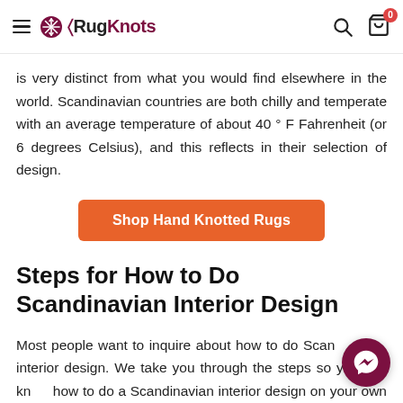RugKnots (logo/navigation bar)
is very distinct from what you would find elsewhere in the world. Scandinavian countries are both chilly and temperate with an average temperature of about 40 ° F Fahrenheit (or 6 degrees Celsius), and this reflects in their selection of design.
[Figure (other): Orange call-to-action button labeled 'Shop Hand Knotted Rugs']
Steps for How to Do Scandinavian Interior Design
Most people want to inquire about how to do Scandinavian interior design. We take you through the steps so you can know how to do a Scandinavian interior design on your own without